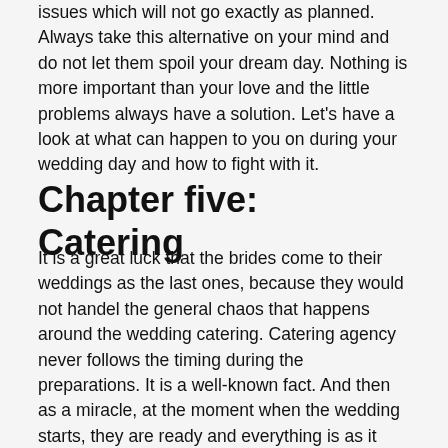issues which will not go exactly as planned. Always take this alternative on your mind and do not let them spoil your dream day. Nothing is more important than your love and the little problems always have a solution. Let's have a look at what can happen to you on during your wedding day and how to fight with it.
Chapter five: Catering
It is a great luck that the brides come to their weddings as the last ones, because they would not handel the general chaos that happens around the wedding catering. Catering agency never follows the timing during the preparations. It is a well-known fact. And then as a miracle, at the moment when the wedding starts, they are ready and everything is as it should be. In other words, you will not find anything wrong during the catering preparations. The bad color of the covers or tablecloths will be revealed easily and the world will not stop spinning because of that. But, if only 8 of the 15 planned waiters will arrive to work, and you will find out immediately when they serve the dinner with two plates in the hand